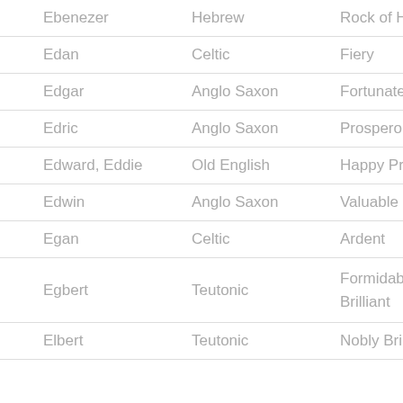| Name | Origin | Meaning |
| --- | --- | --- |
| Ebenezer | Hebrew | Rock of Help |
| Edan | Celtic | Fiery |
| Edgar | Anglo Saxon | Fortunate Spear |
| Edric | Anglo Saxon | Prosperous Ruler |
| Edward, Eddie | Old English | Happy Protector |
| Edwin | Anglo Saxon | Valuable Friend |
| Egan | Celtic | Ardent |
| Egbert | Teutonic | Formidably Brilliant |
| Elbert | Teutonic | Nobly Brilliant |